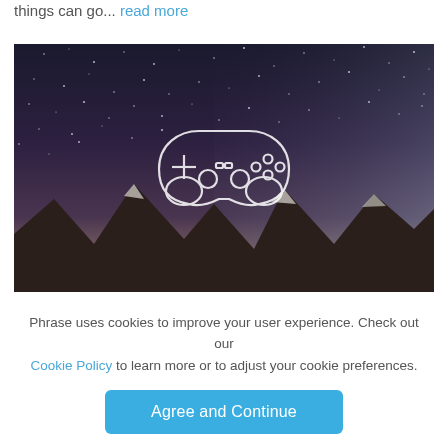things can go... read more
[Figure (photo): Night sky with stars over mountain peaks, with a white outline game controller icon overlaid in the center]
Phrase uses cookies to improve your user experience. Check out our Cookie Policy to learn more or to adjust your cookie preferences.
Agree and Continue